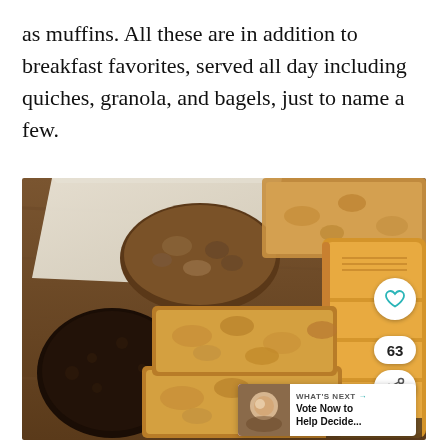as muffins. All these are in addition to breakfast favorites, served all day including quiches, granola, and bagels, just to name a few.
[Figure (photo): Assorted baked goods on a wooden surface: granola bars, dark chocolate cookies, and a golden pie/pastry, with a heart icon, share count of 63, share button, and a 'What's Next' overlay with thumbnail.]